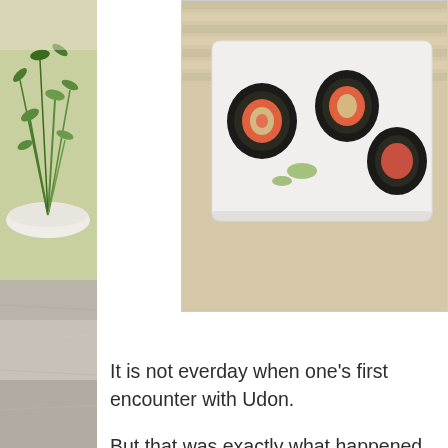[Figure (photo): Left strip: top portion shows green herbs/plants in a white bowl against a light background; bottom portion shows a light grey stone or surface texture.]
[Figure (photo): Top right: sushi rolls plated on a white rectangular plate, placed on a striped bamboo mat. Dark sushi rolls with salmon visible.]
It is not everday when one's first encounter with Udon.
But that was exactly what happened when Princ bloggers including yours truly to meet ENJU's la
Our encounter was fleetingly brief as the new c unexpectedly busy on the evening we were the
Still, with 46 years of experience under his torqu and gamely served up a succession of dishes fo exception of 1-2 items which had subtle fusion